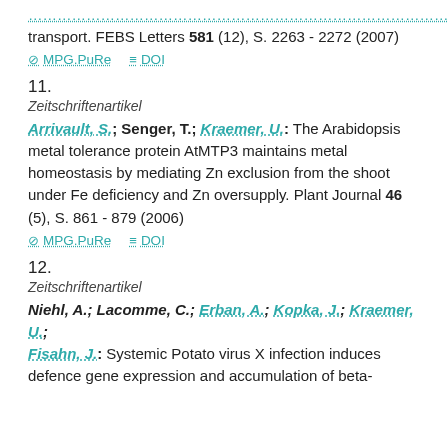transport. FEBS Letters 581 (12), S. 2263 - 2272 (2007)
⊘ MPG.PuRe   ≡ DOI
11.
Zeitschriftenartikel
Arrivault, S.; Senger, T.; Kraemer, U.: The Arabidopsis metal tolerance protein AtMTP3 maintains metal homeostasis by mediating Zn exclusion from the shoot under Fe deficiency and Zn oversupply. Plant Journal 46 (5), S. 861 - 879 (2006)
⊘ MPG.PuRe   ≡ DOI
12.
Zeitschriftenartikel
Niehl, A.; Lacomme, C.; Erban, A.; Kopka, J.; Kraemer, U.; Fisahn, J.: Systemic Potato virus X infection induces defence gene expression and accumulation of beta-